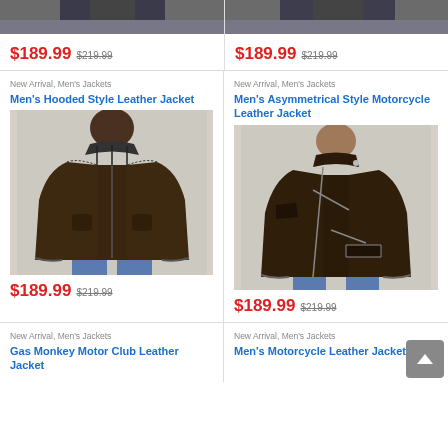[Figure (photo): Partial view of two men's jacket product images cropped at top]
$189.99 $219.99
$189.99 $219.99
New Arrival, Men's Jackets
Men's Hooded Style Leather Jacket
[Figure (photo): Dark brown men's hooded leather jacket worn by a model]
$189.99 $219.99
New Arrival, Men's Jackets
Men's Asymmetrical Style Motorcycle Leather Jacket
[Figure (photo): Dark brown men's asymmetrical motorcycle leather jacket worn by a model]
$189.99 $219.99
New Arrival, Men's Jackets
Gas Monkey Motor Club Leather Jacket
New Arrival, Men's Jackets
Men's Motorcycle Leather Jacket